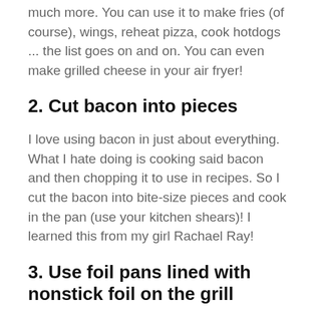much more. You can use it to make fries (of course), wings, reheat pizza, cook hotdogs ... the list goes on and on. You can even make grilled cheese in your air fryer!
2. Cut bacon into pieces
I love using bacon in just about everything. What I hate doing is cooking said bacon and then chopping it to use in recipes. So I cut the bacon into bite-size pieces and cook in the pan (use your kitchen shears)! I learned this from my girl Rachael Ray!
3. Use foil pans lined with nonstick foil on the grill
I like to cook on the grill as much as possible. One